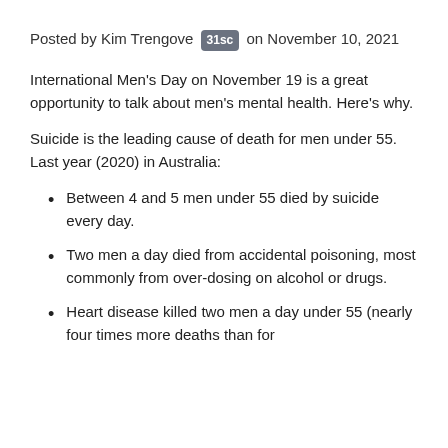Posted by Kim Trengove 31sc on November 10, 2021
International Men's Day on November 19 is a great opportunity to talk about men's mental health. Here's why.
Suicide is the leading cause of death for men under 55. Last year (2020) in Australia:
Between 4 and 5 men under 55 died by suicide every day.
Two men a day died from accidental poisoning, most commonly from over-dosing on alcohol or drugs.
Heart disease killed two men a day under 55 (nearly four times more deaths than for